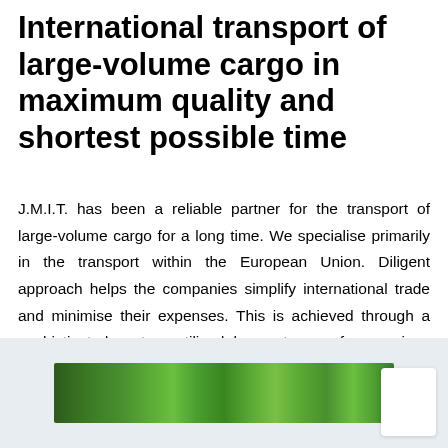International transport of large-volume cargo in maximum quality and shortest possible time
J.M.I.T. has been a reliable partner for the transport of large-volume cargo for a long time. We specialise primarily in the transport within the European Union. Diligent approach helps the companies simplify international trade and minimise their expenses. This is achieved through a sophisticated system utilised by customers from various places in the Czech Republic and Europe. The confidence and quality is ensured by:
[Figure (photo): A landscape photo showing green trees/forest with a road, partially visible, set against a light blue-grey background. A white card/panel is partially visible in the lower right corner.]